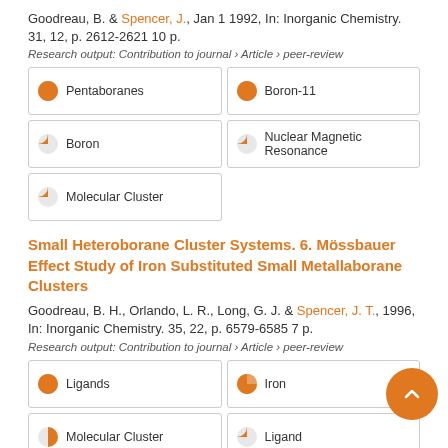Goodreau, B. & Spencer, J., Jan 1 1992, In: Inorganic Chemistry. 31, 12, p. 2612-2621 10 p.
Research output: Contribution to journal › Article › peer-review
Pentaboranes
Boron-11
Boron
Nuclear Magnetic Resonance
Molecular Cluster
Small Heteroborane Cluster Systems. 6. Mössbauer Effect Study of Iron Substituted Small Metallaborane Clusters
Goodreau, B. H., Orlando, L. R., Long, G. J. & Spencer, J. T., 1996, In: Inorganic Chemistry. 35, 22, p. 6579-6585 7 p.
Research output: Contribution to journal › Article › peer-review
Ligands
Iron
Molecular Cluster
Ligand
Donor